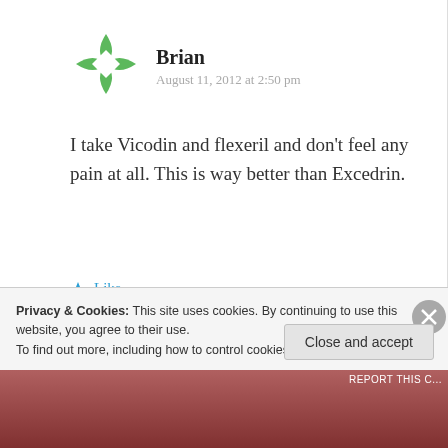[Figure (logo): Green rounded diamond/flower shape avatar icon for user Brian]
Brian
August 11, 2012 at 2:50 pm
I take Vicodin and flexeril and don't feel any pain at all. This is way better than Excedrin.
★ Like
↳ Reply
Privacy & Cookies: This site uses cookies. By continuing to use this website, you agree to their use.
To find out more, including how to control cookies, see here: Cookie Policy
Close and accept